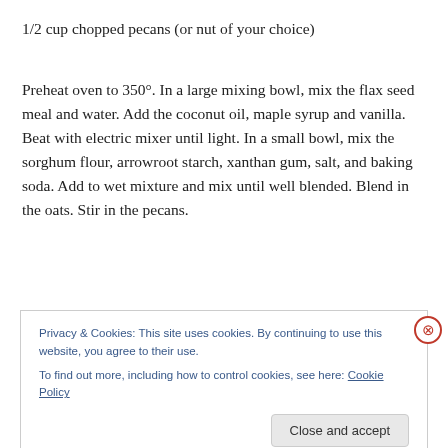1/2 cup chopped pecans (or nut of your choice)
Preheat oven to 350°. In a large mixing bowl, mix the flax seed meal and water. Add the coconut oil, maple syrup and vanilla. Beat with electric mixer until light. In a small bowl, mix the sorghum flour, arrowroot starch, xanthan gum, salt, and baking soda. Add to wet mixture and mix until well blended. Blend in the oats. Stir in the pecans.
Privacy & Cookies: This site uses cookies. By continuing to use this website, you agree to their use.
To find out more, including how to control cookies, see here: Cookie Policy